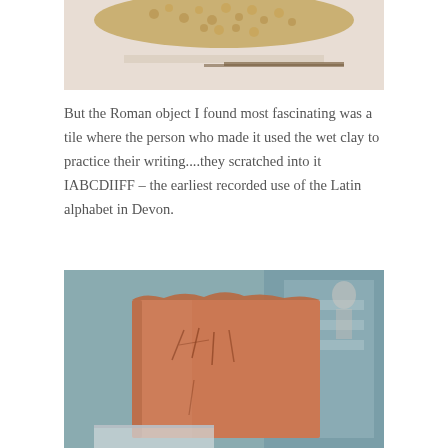[Figure (photo): Top portion of a photo showing a circular arrangement of coins or ancient artifacts on a light background, partially cropped.]
But the Roman object I found most fascinating was a tile where the person who made it used the wet clay to practice their writing....they scratched into it IABCDIIFF – the earliest recorded use of the Latin alphabet in Devon.
[Figure (photo): A Roman clay tile photographed in a museum. The terracotta-colored rectangular tile has scratched markings on its surface. It is displayed in front of museum display cases.]